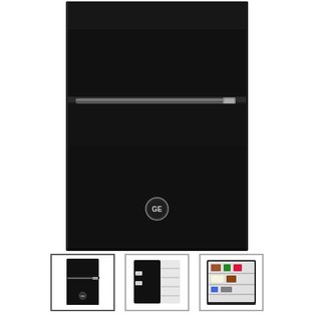[Figure (photo): Front view of a GE black compact refrigerator with two doors (top freezer and bottom refrigerator), a chrome handle on the freezer door, and a GE logo badge on the lower door.]
[Figure (photo): Thumbnail: Front view of the black GE compact refrigerator, selected (highlighted border).]
[Figure (photo): Thumbnail: Open door view of the GE compact refrigerator showing interior shelves and door bins.]
[Figure (photo): Thumbnail: Interior view of the GE compact refrigerator showing shelves with food items.]